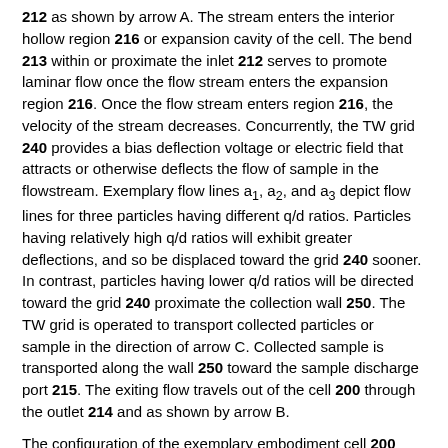212 as shown by arrow A. The stream enters the interior hollow region 216 or expansion cavity of the cell. The bend 213 within or proximate the inlet 212 serves to promote laminar flow once the flow stream enters the expansion region 216. Once the flow stream enters region 216, the velocity of the stream decreases. Concurrently, the TW grid 240 provides a bias deflection voltage or electric field that attracts or otherwise deflects the flow of sample in the flowstream. Exemplary flow lines a1, a2, and a3 depict flow lines for three particles having different q/d ratios. Particles having relatively high q/d ratios will exhibit greater deflections, and so be displaced toward the grid 240 sooner. In contrast, particles having lower q/d ratios will be directed toward the grid 240 proximate the collection wall 250. The TW grid is operated to transport collected particles or sample in the direction of arrow C. Collected sample is transported along the wall 250 toward the sample discharge port 215. The exiting flow travels out of the cell 200 through the outlet 214 and as shown by arrow B.
The configuration of the exemplary embodiment cell 200 provides several significant advantages. Due to the flows